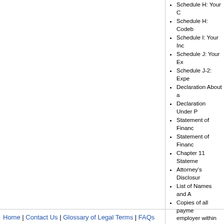Schedule H: Your C
Schedule H: Codeb
Schedule I: Your Inc
Schedule J: Your Ex
Schedule J-2: Expe
Declaration About a
Declaration Under P
Statement of Financ
Statement of Financ
Chapter 11 Stateme
Attorney's Disclosur
List of Names and A
Copies of all payme employer within 60 redacted)
Documents due befor
Certification About a
Home | Contact Us | Glossary of Legal Terms | FAQs